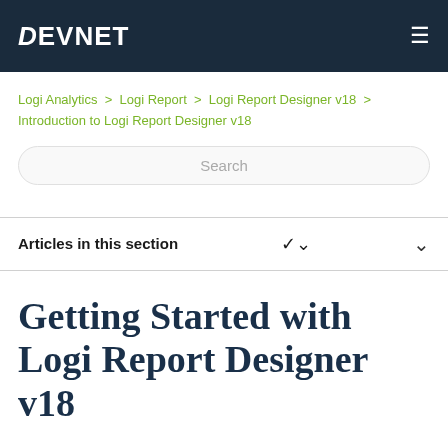DEVNET
Logi Analytics > Logi Report > Logi Report Designer v18 > Introduction to Logi Report Designer v18
Search
Articles in this section
Getting Started with Logi Report Designer v18